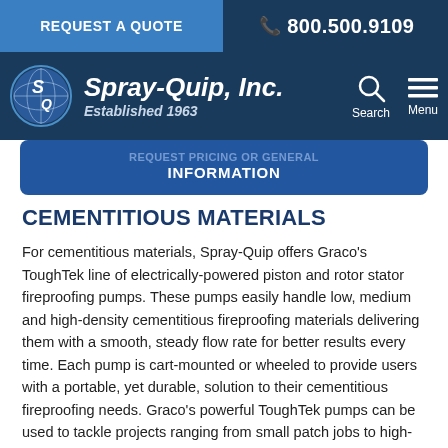REQUEST A QUOTE | 800.500.9109
[Figure (logo): Spray-Quip, Inc. logo with globe icon, Established 1963, on dark navy background with Search and Menu navigation icons]
REQUEST PRICING OR GENERAL INFORMATION
CEMENTITIOUS MATERIALS
For cementitious materials, Spray-Quip offers Graco's ToughTek line of electrically-powered piston and rotor stator fireproofing pumps. These pumps easily handle low, medium and high-density cementitious fireproofing materials delivering them with a smooth, steady flow rate for better results every time. Each pump is cart-mounted or wheeled to provide users with a portable, yet durable, solution to their cementitious fireproofing needs. Graco's powerful ToughTek pumps can be used to tackle projects ranging from small patch jobs to high-production, commercial and industrial jobs using a variety of cementitious materials. The versatility, power